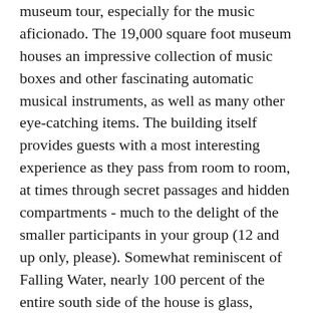museum tour, especially for the music aficionado. The 19,000 square foot museum houses an impressive collection of music boxes and other fascinating automatic musical instruments, as well as many other eye-catching items. The building itself provides guests with a most interesting experience as they pass from room to room, at times through secret passages and hidden compartments - much to the delight of the smaller participants in your group (12 and up only, please). Somewhat reminiscent of Falling Water, nearly 100 percent of the entire south side of the house is glass, affording breathtaking views of the Allegheny River. Be sure not the miss the primary focal point of the house – "The Cave", a hidden passageway that takes the visitor from the lower level of the house to the main floor, which is accessed by a secret, unusual doorway.